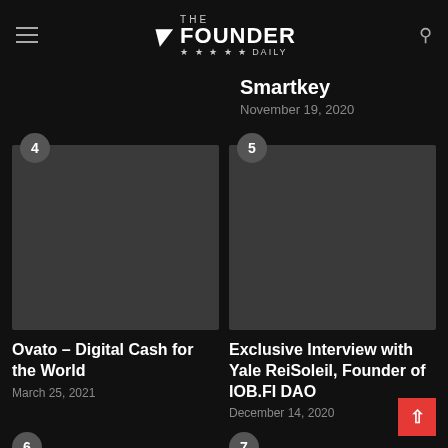THE FOUNDER DAILY
Smartkey
November 19, 2020
[Figure (photo): Article thumbnail image 4 - dark placeholder]
Ovato – Digital Cash for the World
March 25, 2021
[Figure (photo): Article thumbnail image 5 - dark placeholder]
Exclusive Interview with Yale ReiSoleil, Founder of IOB.FI DAO
December 14, 2020